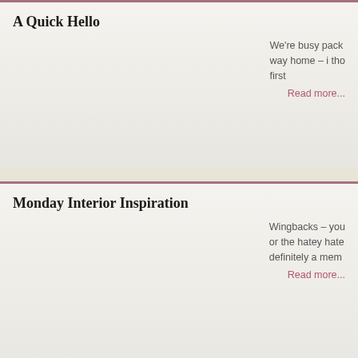A Quick Hello
We're busy pack way home – i tho first
Read more...
Monday Interior Inspiration
Wingbacks – you or the hatey hate definitely a mem
Read more...
I...th Addr... Col...